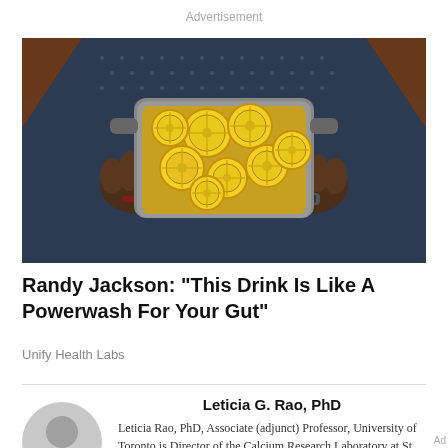Advertisement
[Figure (photo): A person holding a large pot filled with lemon slices in liquid, in a kitchen setting with brick wall background]
Randy Jackson: "This Drink Is Like A Powerwash For Your Gut"
Unify Health Labs
Leticia G. Rao, PhD
[Figure (photo): Circular avatar placeholder / profile icon in gray]
Leticia G. Rao, PhD
Leticia Rao, PhD, Associate (adjunct) Professor, University of Toronto is Director of the Calcium Research Laboratory at St. Michael's Hospital. She co-authored the book The Bone-Building Solution (Wh...